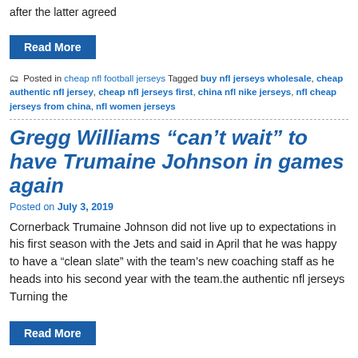after the latter agreed
Read More
Posted in cheap nfl football jerseys Tagged buy nfl jerseys wholesale, cheap authentic nfl jersey, cheap nfl jerseys first, china nfl nike jerseys, nfl cheap jerseys from china, nfl women jerseys
Gregg Williams “can’t wait” to have Trumaine Johnson in games again
Posted on July 3, 2019
Cornerback Trumaine Johnson did not live up to expectations in his first season with the Jets and said in April that he was happy to have a “clean slate” with the team’s new coaching staff as he heads into his second year with the team.the authentic nfl jerseys Turning the
Read More